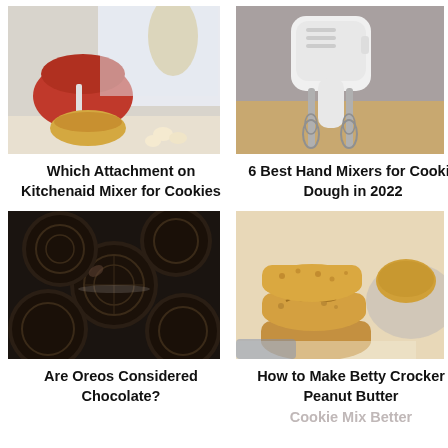[Figure (photo): Red KitchenAid stand mixer with whisk attachment and mixing bowl on a kitchen counter with eggs nearby]
[Figure (photo): White handheld electric hand mixer with wire beaters on a wooden surface against a gray wall]
Which Attachment on Kitchenaid Mixer for Cookies
6 Best Hand Mixers for Cookie Dough in 2022
[Figure (photo): Close-up of Oreo chocolate sandwich cookies piled together, dark background]
[Figure (photo): Stacked peanut butter cookies on parchment paper with more cookies on a plate in background]
Are Oreos Considered Chocolate?
How to Make Betty Crocker Peanut Butter Cookie Mix Better